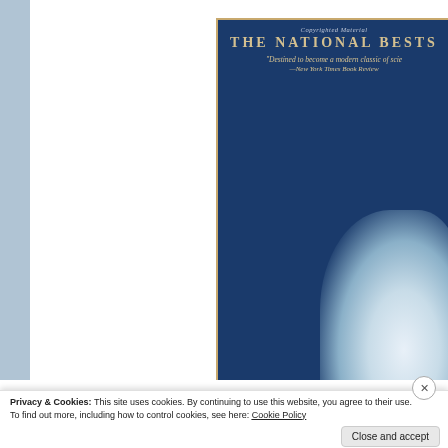[Figure (illustration): Book cover with dark navy blue background and gold border. Text reads 'Copyrighted Material', 'THE NATIONAL BESTS' (truncated), quote 'Destined to become a modern classic of scie...' (truncated), '—New York Times Book Review'. Bottom right has snow/ice landscape imagery.]
Privacy & Cookies: This site uses cookies. By continuing to use this website, you agree to their use.
To find out more, including how to control cookies, see here: Cookie Policy
Close and accept